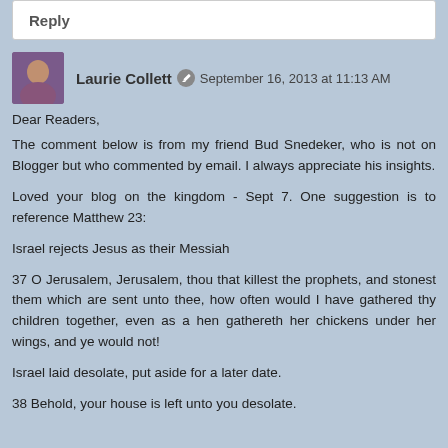Reply
Laurie Collett  September 16, 2013 at 11:13 AM
Dear Readers,
The comment below is from my friend Bud Snedeker, who is not on Blogger but who commented by email. I always appreciate his insights.

Loved your blog on the kingdom - Sept 7. One suggestion is to reference Matthew 23:

Israel rejects Jesus as their Messiah

37 O Jerusalem, Jerusalem, thou that killest the prophets, and stonest them which are sent unto thee, how often would I have gathered thy children together, even as a hen gathereth her chickens under her wings, and ye would not!

Israel laid desolate, put aside for a later date.

38 Behold, your house is left unto you desolate.